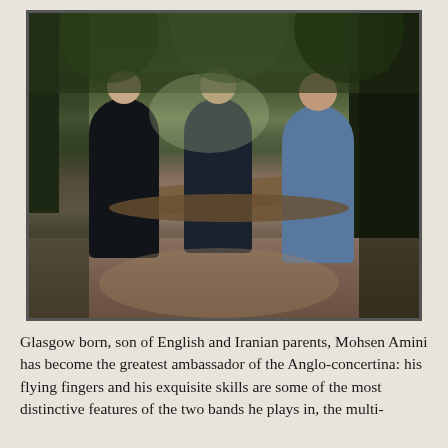[Figure (photo): Three people (two men and a woman) standing on a woodland path surrounded by trees. The man on the left wears dark clothing, the woman in the center wears a floral dress, and the man on the right wears a light denim jacket.]
Glasgow born, son of English and Iranian parents, Mohsen Amini has become the greatest ambassador of the Anglo-concertina: his flying fingers and his exquisite skills are some of the most distinctive features of the two bands he plays in, the multi-